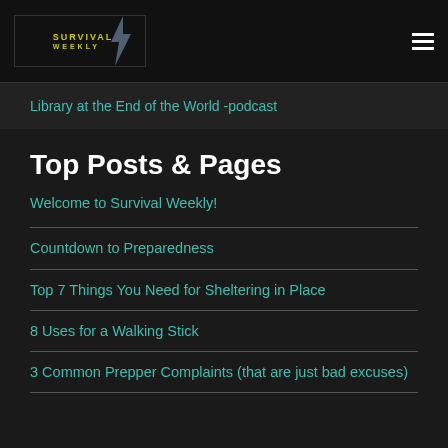Survival Weekly logo and navigation menu
Library at the End of the World -podcast
Top Posts & Pages
Welcome to Survival Weekly!
Countdown to Preparedness
Top 7 Things You Need for Sheltering in Place
8 Uses for a Walking Stick
3 Common Prepper Complaints (that are just bad excuses)